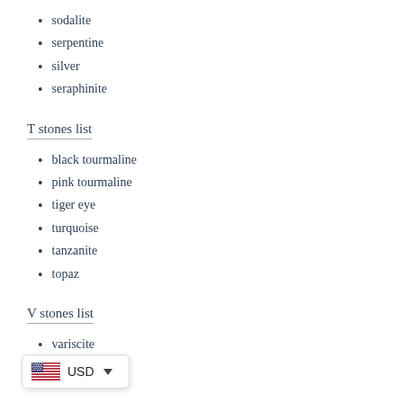sodalite
serpentine
silver
seraphinite
T stones list
black tourmaline
pink tourmaline
tiger eye
turquoise
tanzanite
topaz
V stones list
variscite
USD